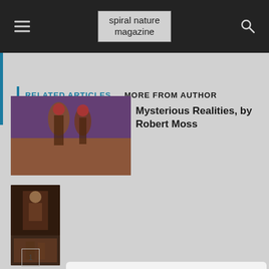spiral nature magazine
RELATED ARTICLES  MORE FROM AUTHOR
[Figure (photo): Thumbnail image of decorative hanging ornaments with beads and feathers in purple and brown tones]
Mysterious Realities, by Robert Moss
[Figure (photo): Small thumbnail of a figure with colorful traditional costume]
[Figure (photo): Small thumbnail of a historical scene with figures in period clothing]
Don't miss out on the next newsletter from Spiral Nature!
Get the latest in occulture delivered straight to your inbox once a week. Free!
Enter your email address
SUBSCRIBE NOW